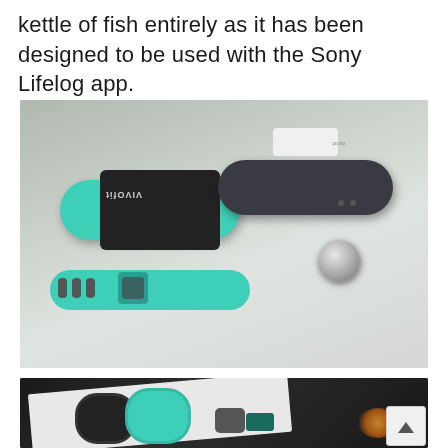kettle of fish entirely as it has been designed to be used with the Sony Lifelog app.
[Figure (photo): Two fitness tracker bands side by side on a light surface — a teal/green Garmin Vivofit band (back side visible) on the left and a dark gray Sony SmartBand with a circular metallic button on the right.]
[Figure (photo): Two fitness tracker wristbands (dark black and teal Garmin Vivofit) lying on a white surface in a dark setting, with a warm light glowing in the background. A third small dark accessory is partially visible.]